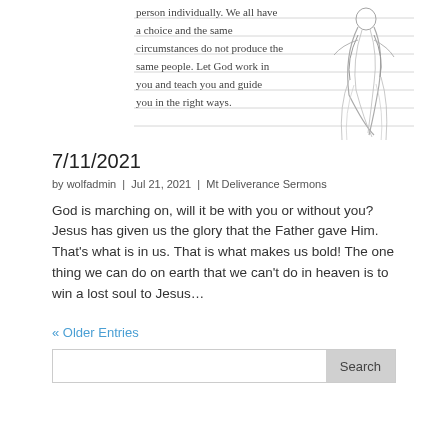[Figure (illustration): Handwritten text on lined paper with a pencil sketch of a flowing female figure. The handwriting reads: 'person individually. We all have a choice and the same circumstances do not produce the same people. Let God work in you and teach you and guide you in the right ways.']
7/11/2021
by wolfadmin | Jul 21, 2021 | Mt Deliverance Sermons
God is marching on, will it be with you or without you? Jesus has given us the glory that the Father gave Him. That's what is in us. That is what makes us bold! The one thing we can do on earth that we can't do in heaven is to win a lost soul to Jesus…
« Older Entries